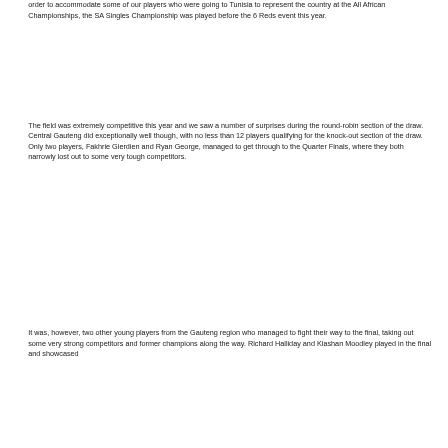order to accommodate some of our players who were going to Tunisia to represent the country at the All African Championships, the SA Singles Championship was played before the 6 Reds event this year.
The field was extremely competitive this year and we saw a number of surprises during the round-robin section of the draw. Central Gauteng did exceptionally well though, with no less than 12 players qualifying for the knock-out section of the draw. Only two players, Fakhrie Gierdien and Ryan George, managed to get through to the Quarter Finals, where they both narrowly lost out to some very tough competitors.
It was, however, two other young players from the Gauteng region who managed to fight their way to the final, taking out some very strong competitors and former champions along the way. Richard Halliday and Kiashan Moodley played in the final and showcased